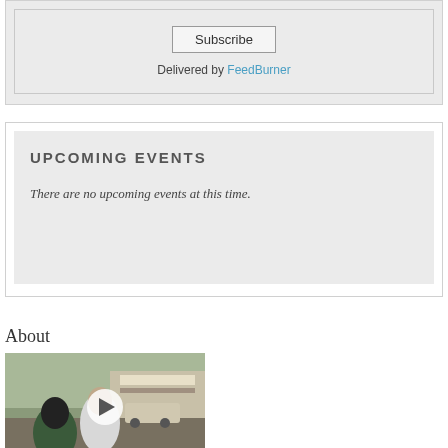Subscribe
Delivered by FeedBurner
UPCOMING EVENTS
There are no upcoming events at this time.
About
[Figure (photo): Video thumbnail showing people and a storefront, with a play button overlay]